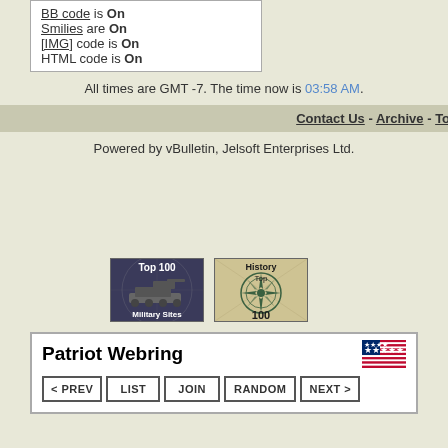BB code is On
Smilies are On
[IMG] code is On
HTML code is On
All times are GMT -7. The time now is 03:58 AM.
Contact Us - Archive - Top
Powered by vBulletin, Jelsoft Enterprises Ltd.
[Figure (illustration): Top 100 Military Sites badge with tank image]
[Figure (illustration): History Top 100 badge with compass rose]
Patriot Webring
< PREV  LIST  JOIN  RANDOM  NEXT >